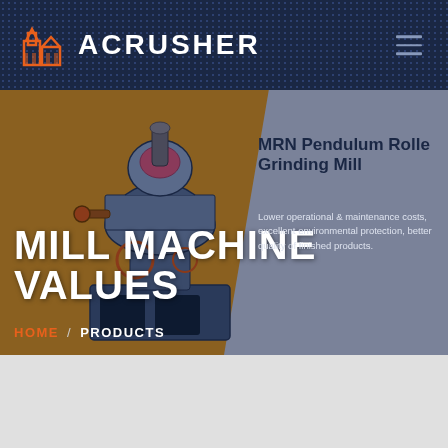ACRUSHER
MILL MACHINE VALUES
MRN Pendulum Roller Grinding Mill
Lower operational & maintenance costs, excellent environmental protection, better quality of finished products.
HOME / PRODUCTS